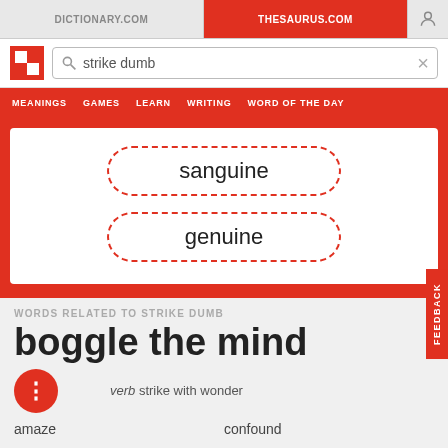DICTIONARY.COM | THESAURUS.COM
strike dumb
sanguine
genuine
WORDS RELATED TO STRIKE DUMB
boggle the mind
verb  strike with wonder
amaze
confound